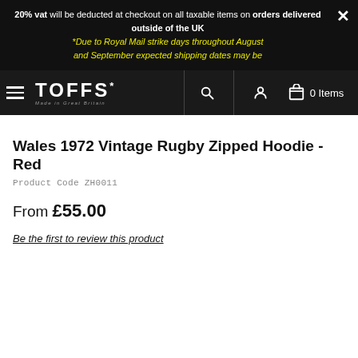20% vat will be deducted at checkout on all taxable items on orders delivered outside of the UK *Due to Royal Mail strike days throughout August and September expected shipping dates may be...
[Figure (logo): TOFFS logo - white text on black background, 'Made in Great Britain' subtitle]
Wales 1972 Vintage Rugby Zipped Hoodie - Red
Product Code ZH0011
From £55.00
Be the first to review this product